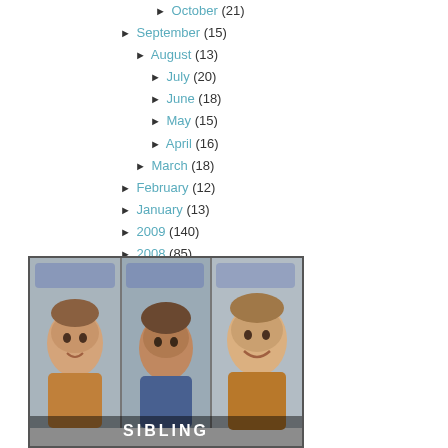► October (21)
► September (15)
► August (13)
► July (20)
► June (18)
► May (15)
► April (16)
► March (18)
► February (12)
► January (13)
► 2009 (140)
► 2008 (85)
► 2007 (45)
[Figure (photo): Three-panel photo strip showing three young children/toddlers seated in chairs, with partial text 'SIBLINGS' or similar at the bottom]